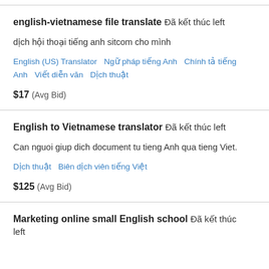english-vietnamese file translate  Đã kết thúc left

dịch hội thoại tiếng anh sitcom cho mình

English (US) Translator   Ngữ pháp tiếng Anh   Chính tả tiếng Anh   Viết diễn văn   Dịch thuật

$17  (Avg Bid)
English to Vietnamese translator  Đã kết thúc left

Can nguoi giup dich document tu tieng Anh qua tieng Viet.

Dịch thuật   Biên dịch viên tiếng Việt

$125  (Avg Bid)
Marketing online small English school  Đã kết thúc left